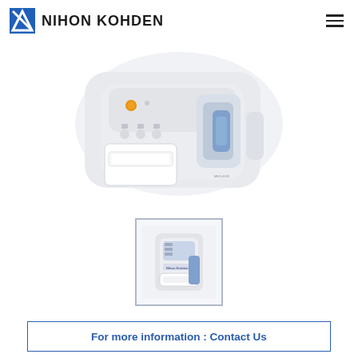[Figure (logo): Nihon Kohden logo with blue diagonal square/arrow icon and company name text]
[Figure (photo): Top-down view of a Nihon Kohden medical hematology analyzer device, white casing with orange indicator light, blue sample loading arm, and built-in printer]
[Figure (photo): Thumbnail image of the same Nihon Kohden analyzer showing front/side view]
For more information : Contact Us